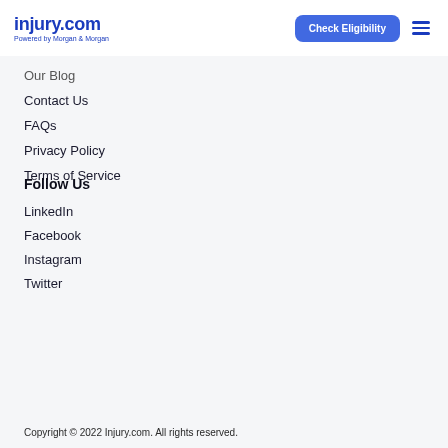injury.com Powered by Morgan & Morgan | Check Eligibility
Our Blog
Contact Us
FAQs
Privacy Policy
Terms of Service
Follow Us
LinkedIn
Facebook
Instagram
Twitter
Copyright © 2022 Injury.com. All rights reserved.